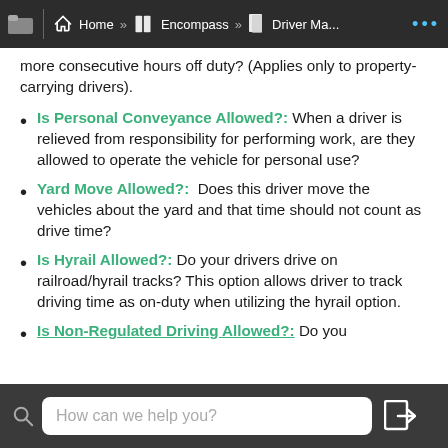Home » Encompass » Driver Ma...
more consecutive hours off duty? (Applies only to property-carrying drivers).
Is Personal Conveyance Allowed?: When a driver is relieved from responsibility for performing work, are they allowed to operate the vehicle for personal use?
Yard Move Allowed?: Does this driver move the vehicles about the yard and that time should not count as drive time?
Is Hyrail Allowed?: Do your drivers drive on railroad/hyrail tracks? This option allows driver to track driving time as on-duty when utilizing the hyrail option.
Is Non-Regulated Driving Allowed?: Do you
How can we help you?